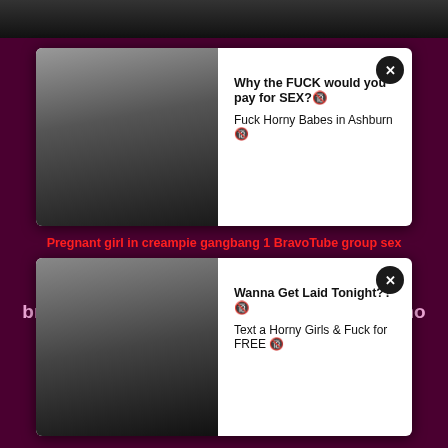[Figure (photo): Dark banner image at top of adult website page]
[Figure (photo): Ad popup 1 with thumbnail image - text: Why the FUCK would you pay for SEX? / Fuck Horny Babes in Ashburn]
Pregnant girl in creampie gangbang 1 BravoTube group sex
[Figure (photo): Ad popup 2 with thumbnail image - text: Wanna Get Laid Tonight?? / Text a Horny Girls & Fuck for FREE]
bravotube.online - is your amateur HD porno guide
BravoTube Tube is the place where you can find best free porn!
18 U.S.C 2257
DMCA